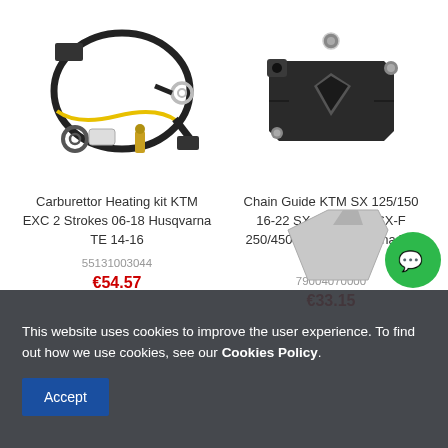[Figure (photo): Carburettor heating kit with wires, connectors and a sensor on white background]
Carburettor Heating kit KTM EXC 2 Strokes 06-18 Husqvarna TE 14-16
55131003044
€54.57
[Figure (photo): Black chain guide bracket component on white background]
Chain Guide KTM SX 125/150 16-22 SX 250 17-22 SX-F 250/450 16-22 Husqvarna TC 125/250...
79004070000
€33.15
[Figure (photo): Partial view of a third product (metal component) at bottom right]
This website uses cookies to improve the user experience. To find out how we use cookies, see our Cookies Policy.
Accept